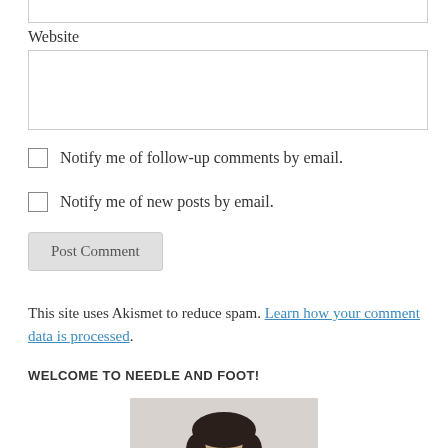Website
Notify me of follow-up comments by email.
Notify me of new posts by email.
Post Comment
This site uses Akismet to reduce spam. Learn how your comment data is processed.
WELCOME TO NEEDLE AND FOOT!
[Figure (photo): Portrait photo of a person with dark short hair and glasses, smiling, against a light grey background.]